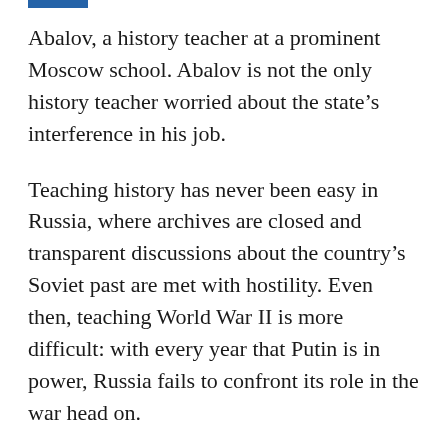Abalov, a history teacher at a prominent Moscow school. Abalov is not the only history teacher worried about the state's interference in his job.
Teaching history has never been easy in Russia, where archives are closed and transparent discussions about the country's Soviet past are met with hostility. Even then, teaching World War II is more difficult: with every year that Putin is in power, Russia fails to confront its role in the war head on.
In August 2016—on the eve of the new school year—a new Education Minister, Olga Vasilyeva, took office. Vasilyeva is perceived as a supporter of the conservative Orthodox agenda. She has also defended